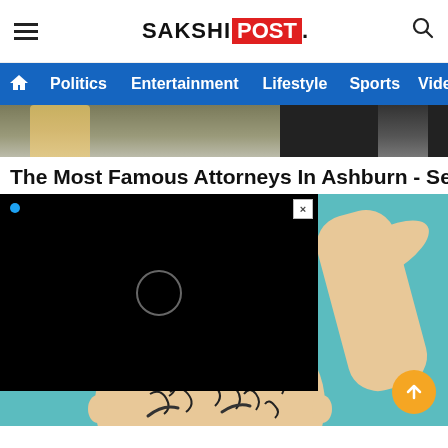SAKSHI POST — navigation: Politics, Entertainment, Lifestyle, Sports, Video
[Figure (screenshot): Two partial celebrity photos side by side at top of page]
The Most Famous Attorneys In Ashburn - See The
[Figure (screenshot): Black video ad overlay with close button (x), Twitter dot, and circular spinner]
[Figure (illustration): Cartoon illustration of a bald person with swirling pattern on head against teal background]